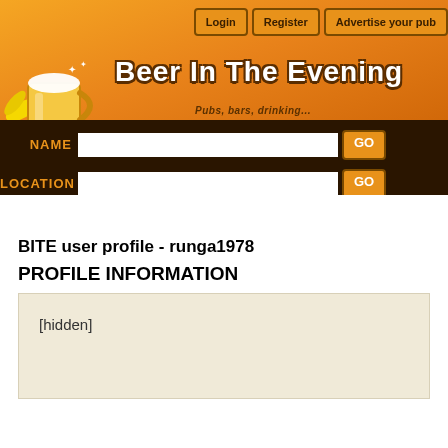[Figure (screenshot): Beer In The Evening website header with orange gradient background, beer mug logo, site title 'Beer In The Evening', subtitle 'Pubs, bars, drinking...', navigation buttons (Login, Register, Advertise your pub), and search fields for NAME and LOCATION with GO buttons on dark brown background.]
BITE user profile - runga1978
PROFILE INFORMATION
[hidden]